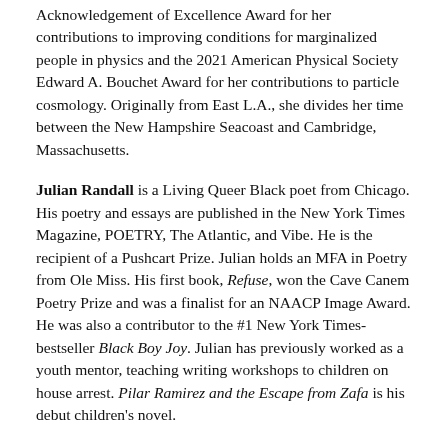Acknowledgement of Excellence Award for her contributions to improving conditions for marginalized people in physics and the 2021 American Physical Society Edward A. Bouchet Award for her contributions to particle cosmology. Originally from East L.A., she divides her time between the New Hampshire Seacoast and Cambridge, Massachusetts.
Julian Randall is a Living Queer Black poet from Chicago. His poetry and essays are published in the New York Times Magazine, POETRY, The Atlantic, and Vibe. He is the recipient of a Pushcart Prize. Julian holds an MFA in Poetry from Ole Miss. His first book, Refuse, won the Cave Canem Poetry Prize and was a finalist for an NAACP Image Award. He was also a contributor to the #1 New York Times-bestseller Black Boy Joy. Julian has previously worked as a youth mentor, teaching writing workshops to children on house arrest. Pilar Ramirez and the Escape from Zafa is his debut children's novel.
Jessie Sima is an author and illustrator of picture books. They grew up in a small town in southern New Jersey and now write and draw in a creaky house in New York State. When not making books, Jessie can be found reading graphic novels, watching spooky movies, and playing outside